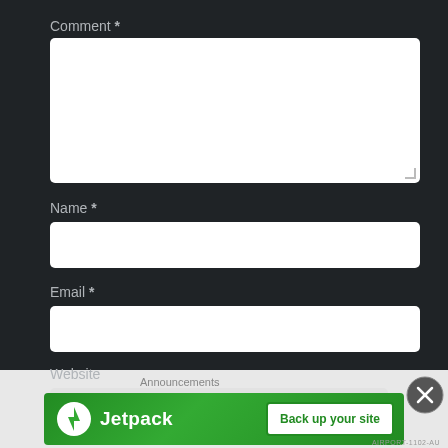Comment *
[Figure (screenshot): Large white textarea input box for comment field]
Name *
[Figure (screenshot): Single-line white input box for Name field]
Email *
[Figure (screenshot): Single-line white input box for Email field]
Website
[Figure (screenshot): Partially visible input box for Website field]
[Figure (screenshot): Jetpack advertisement banner with Back up your site button]
AIRPORT-1102-AU